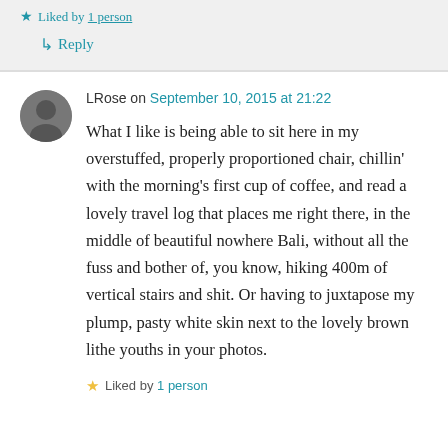★ Liked by 1 person
↳ Reply
LRose on September 10, 2015 at 21:22
What I like is being able to sit here in my overstuffed, properly proportioned chair, chillin' with the morning's first cup of coffee, and read a lovely travel log that places me right there, in the middle of beautiful nowhere Bali, without all the fuss and bother of, you know, hiking 400m of vertical stairs and shit. Or having to juxtapose my plump, pasty white skin next to the lovely brown lithe youths in your photos.
★ Liked by 1 person